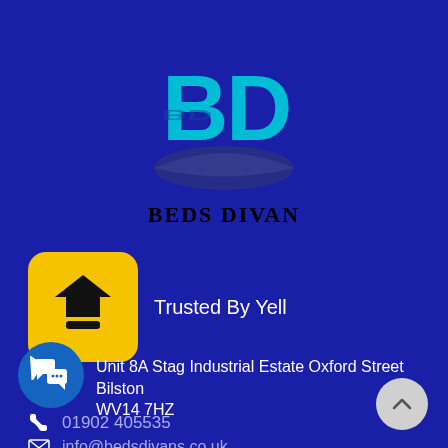[Figure (logo): Beds Divan logo with teal BD letters and swoosh design on dark blue background, with brand name BEDS DIVAN below]
[Figure (logo): Yellow rounded square Yell trusted badge logo with black chevron/arrow icon]
Trusted By Yell
Unit 8A Stag Industrial Estate Oxford Street Bilston WV14 7HZ
01902 405535
info@bedsdivans.co.uk